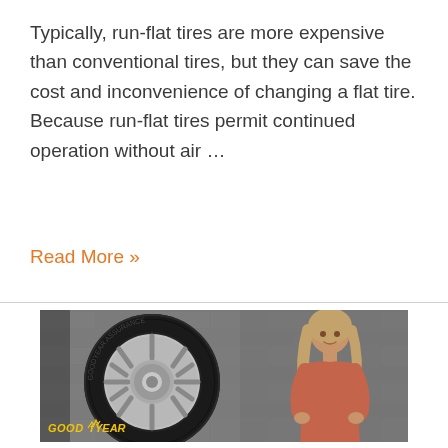Typically, run-flat tires are more expensive than conventional tires, but they can save the cost and inconvenience of changing a flat tire. Because run-flat tires permit continued operation without air ...
Read More »
[Figure (photo): A Goodyear promotional video thumbnail showing a woman in a coral/rust colored top standing next to a car tire and wheel against a gray brick wall background. The Goodyear logo is visible in the bottom left corner.]